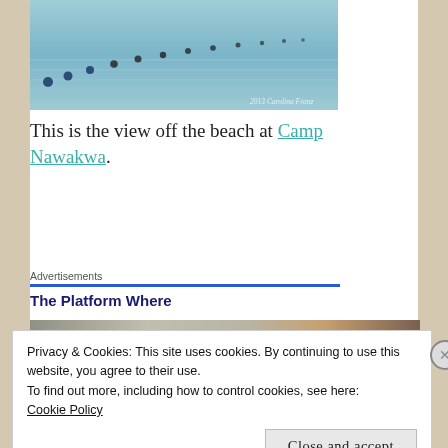[Figure (photo): View off the beach at Camp Nawakwa — water with a line of buoys/floats extending diagonally, with a watermark reading '2013 Carolina Franz']
This is the view off the beach at Camp Nawakwa.
Advertisements
The Platform Where
[Figure (photo): Close-up photo of rocks and leaves on the ground]
Privacy & Cookies: This site uses cookies. By continuing to use this website, you agree to their use.
To find out more, including how to control cookies, see here: Cookie Policy
Close and accept